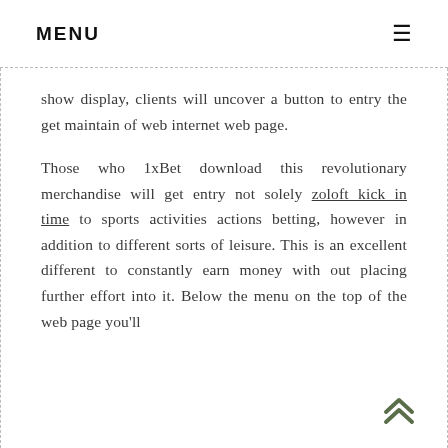MENU
show display, clients will uncover a button to entry the get maintain of web internet web page.
Those who 1xBet download this revolutionary merchandise will get entry not solely zoloft kick in time to sports activities actions betting, however in addition to different sorts of leisure. This is an excellent different to constantly earn money with out placing further effort into it. Below the menu on the top of the web page you'll